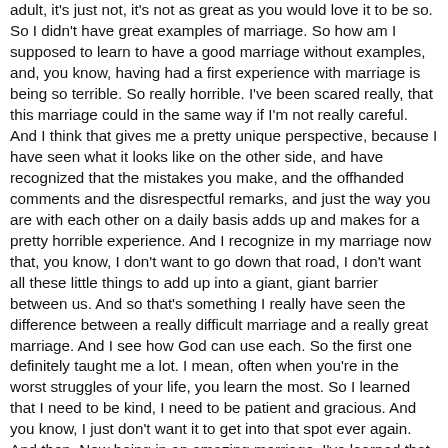adult, it's just not, it's not as great as you would love it to be so. So I didn't have great examples of marriage. So how am I supposed to learn to have a good marriage without examples, and, you know, having had a first experience with marriage is being so terrible. So really horrible. I've been scared really, that this marriage could in the same way if I'm not really careful. And I think that gives me a pretty unique perspective, because I have seen what it looks like on the other side, and have recognized that the mistakes you make, and the offhanded comments and the disrespectful remarks, and just the way you are with each other on a daily basis adds up and makes for a pretty horrible experience. And I recognize in my marriage now that, you know, I don't want to go down that road, I don't want all these little things to add up into a giant, giant barrier between us. And so that's something I really have seen the difference between a really difficult marriage and a really great marriage. And I see how God can use each. So the first one definitely taught me a lot. I mean, often when you're in the worst struggles of your life, you learn the most. So I learned that I need to be kind, I need to be patient and gracious. And you know, I just don't want it to get into that spot ever again. And then. Now being in an amazing marriage. I've learned that God wants us to have amazing marriages because he can do a whole lot more in us and through us. You know, when you're in a difficult spot in your marriage, it's all consuming. I mean,
you just can't think of anything else. You're crying all the time or angry all the time or stressed all the time. I mean, I cry a lot so that's my, that's my go to. But you know, it just, it's so different when you're in a good spot with your marriage, that you have this emotional and mental space that you wouldn't otherwise have, you've got this energy for life and the things that God wants to